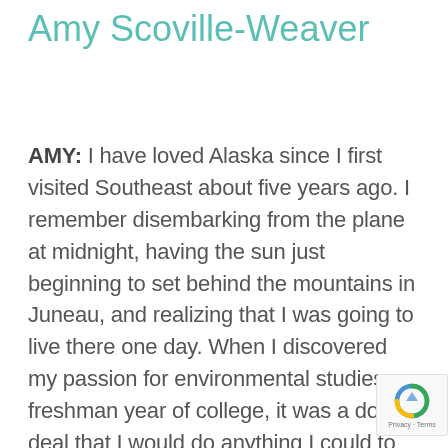Amy Scoville-Weaver
AMY: I have loved Alaska since I first visited Southeast about five years ago. I remember disembarking from the plane at midnight, having the sun just beginning to set behind the mountains in Juneau, and realizing that I was going to live there one day. When I discovered my passion for environmental studies my freshman year of college, it was a done deal that I would do anything I could to return. I also love being outdoors, so Alaska always seemed like paradise to a girl coming from Phoenix and just finishing schooling in New York. As interns, our typical work day begins with a look at the Alaska daily newspaper to see if there is anything